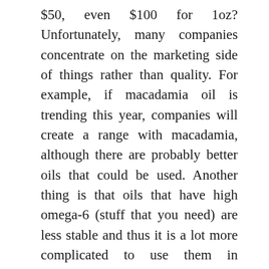$50, even $100 for 1oz? Unfortunately, many companies concentrate on the marketing side of things rather than quality. For example, if macadamia oil is trending this year, companies will create a range with macadamia, although there are probably better oils that could be used. Another thing is that oils that have high omega-6 (stuff that you need) are less stable and thus it is a lot more complicated to use them in commercial products. This doesn't mean that all commercially sold oils are not good. There are many companies that do an amazing job at formulating their oils. But KNOWLEDGE IS POWER. You should be educated enough to be able to read the label and judge if the oil blend will be good for your skin or not.